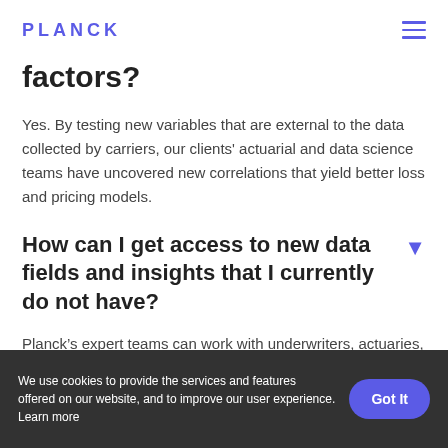PLANCK
factors?
Yes. By testing new variables that are external to the data collected by carriers, our clients' actuarial and data science teams have uncovered new correlations that yield better loss and pricing models.
How can I get access to new data fields and insights that I currently do not have?
Planck's expert teams can work with underwriters, actuaries, data scientists and business users to determine new risk
We use cookies to provide the services and features offered on our website, and to improve our user experience. Learn more